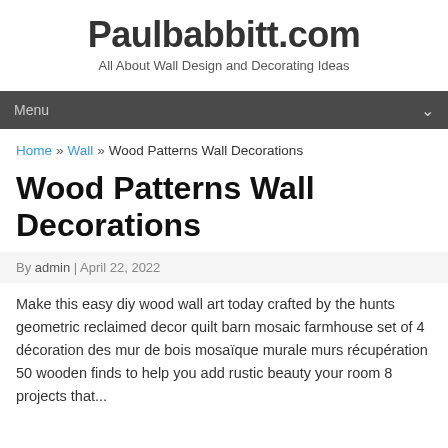Paulbabbitt.com
All About Wall Design and Decorating Ideas
Menu
Home » Wall » Wood Patterns Wall Decorations
Wood Patterns Wall Decorations
By admin | April 22, 2022
Make this easy diy wood wall art today crafted by the hunts geometric reclaimed decor quilt barn mosaic farmhouse set of 4 décoration des mur de bois mosaïque murale murs récupération 50 wooden finds to help you add rustic beauty your room 8 projects that...